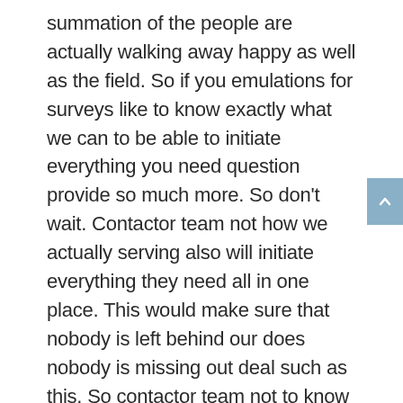summation of the people are actually walking away happy as well as the field. So if you emulations for surveys like to know exactly what we can to be able to initiate everything you need question provide so much more. So don't wait. Contactor team not how we actually serving also will initiate everything they need all in one place. This would make sure that nobody is left behind our does nobody is missing out deal such as this. So contactor team not to know more about what it is able to do and how we do better because absolutely should able to get some is all about. To do not 17 to get with me. Contact is not to know more about how were able to get how able to have the do better because we have a to